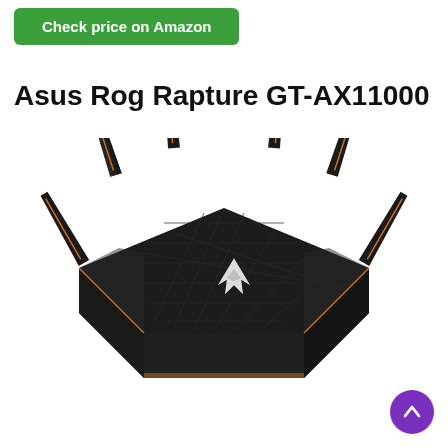Check price on Amazon
Asus Rog Rapture GT-AX11000
[Figure (photo): ASUS ROG Rapture GT-AX11000 gaming router, black hexagonal body with eight angled antennas and gold/copper accent lighting strips, ROG logo on top surface, viewed from a three-quarter angle.]
[Figure (other): Purple circular scroll-to-top button with white upward arrow icon]